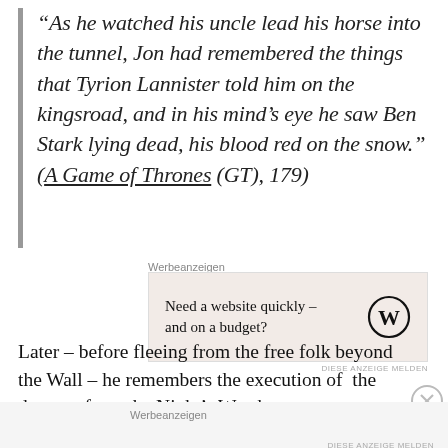“As he watched his uncle lead his horse into the tunnel, Jon had remembered the things that Tyrion Lannister told him on the kingsroad, and in his mind’s eye he saw Ben Stark lying dead, his blood red on the snow.” (A Game of Thrones (GT), 179)
Werbeanzeigen
[Figure (other): Advertisement box with beige background: 'Need a website quickly – and on a budget?' with WordPress logo]
Later – before fleeing from the free folk beyond the Wall – he remembers the execution of the deserter from the Night’s Watch:
Werbeanzeigen